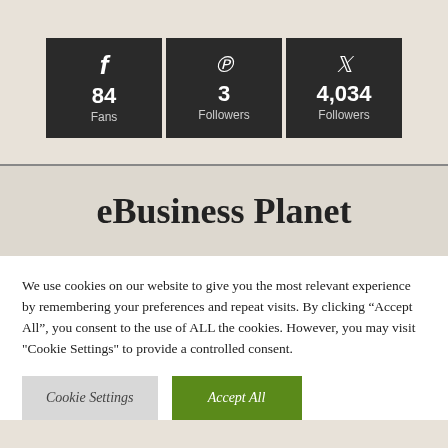[Figure (infographic): Three social media stat boxes (dark background): Facebook f icon with 84 Fans, Pinterest p icon with 3 Followers, Twitter bird icon with 4,034 Followers]
eBusiness Planet
We use cookies on our website to give you the most relevant experience by remembering your preferences and repeat visits. By clicking “Accept All”, you consent to the use of ALL the cookies. However, you may visit "Cookie Settings" to provide a controlled consent.
Cookie Settings
Accept All